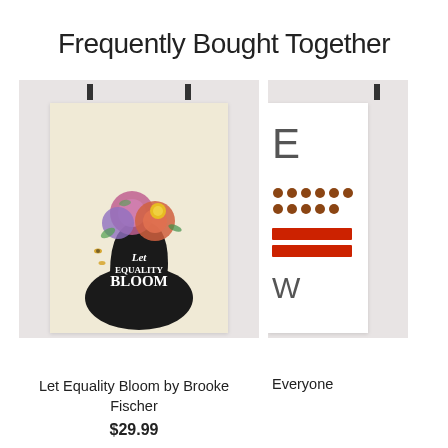Frequently Bought Together
[Figure (illustration): Poster of a woman silhouette with flowers and text 'Let Equality Bloom' hanging against a light gray background]
[Figure (illustration): Partially visible poster with geometric patterns and red shapes hanging against a light gray background, labeled 'Everyone']
Let Equality Bloom by Brooke Fischer
Everyone
$29.99